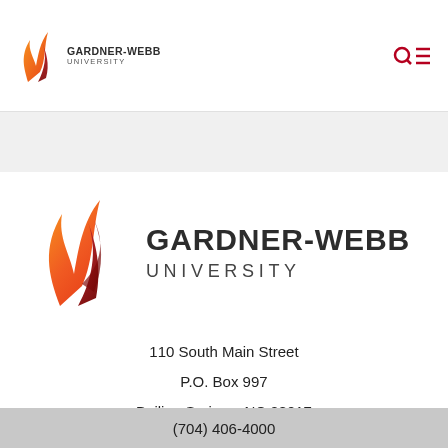[Figure (logo): Gardner-Webb University logo in top navigation bar with flame icon and text GARDNER-WEBB UNIVERSITY]
[Figure (logo): Gardner-Webb University large centered logo with flame icon and text GARDNER-WEBB UNIVERSITY]
110 South Main Street
P.O. Box 997
Boiling Springs, NC 28017
(704) 406-4000